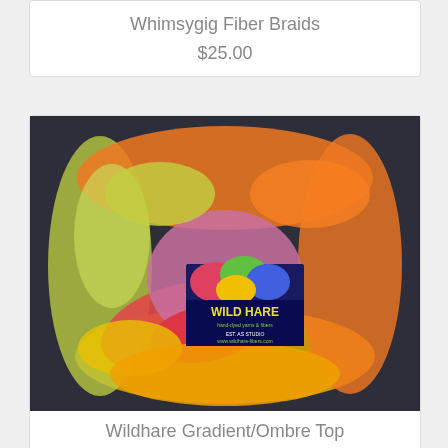Whimsygig Fiber Braids
$25.00
[Figure (photo): Colorful wool roving fiber braid arranged in a circular shape on dark background, showing gradient colors from yellow-green to orange, pink, red, and purple, with a Wild Hare brand tag visible in the center]
Wildhare Gradient/Ombre Top
$20.00
[Figure (photo): Partial view of a braided fiber/hair piece in natural blonde/grey tones at the bottom of the page]